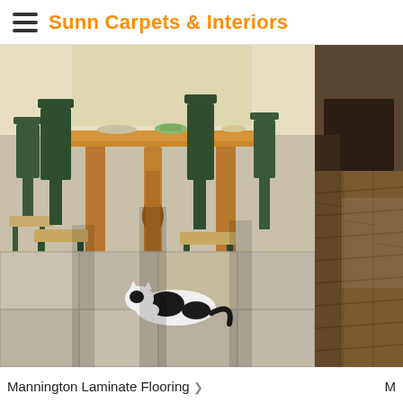Sunn Carpets & Interiors
[Figure (photo): Main photo showing a dining room with black ladder-back chairs, a wooden table, and a black-and-white cat lying on laminate tile flooring. Bright sunlight coming through windows.]
[Figure (photo): Side photo showing a partial view of a room with wood-look laminate flooring and dark furniture.]
Mannington Laminate Flooring >